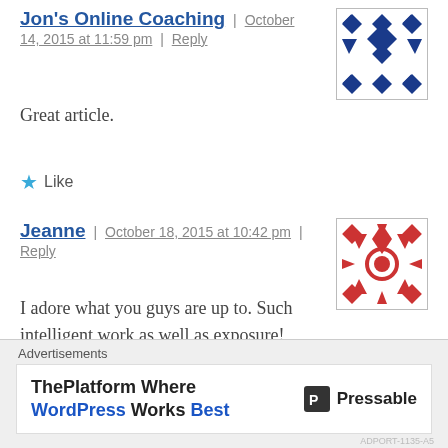Jon's Online Coaching | October 14, 2015 at 11:59 pm | Reply
Great article.
★ Like
Jeanne | October 18, 2015 at 10:42 pm | Reply
I adore what you guys are up to. Such intelligent work as well as exposure!
Advertisements
ThePlatform Where WordPress Works Best  Pressable